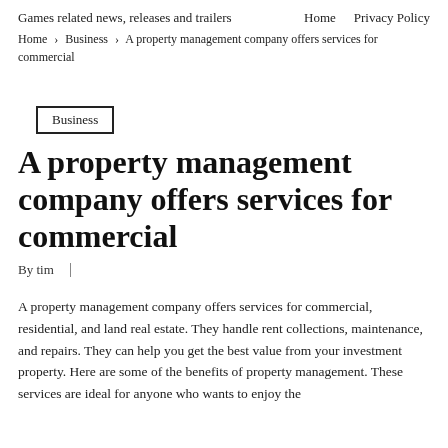Games related news, releases and trailers
Home    Privacy Policy
Home › Business › A property management company offers services for commercial
Business
A property management company offers services for commercial
By tim  |
A property management company offers services for commercial, residential, and land real estate. They handle rent collections, maintenance, and repairs. They can help you get the best value from your investment property. Here are some of the benefits of property management. These services are ideal for anyone who wants to enjoy the